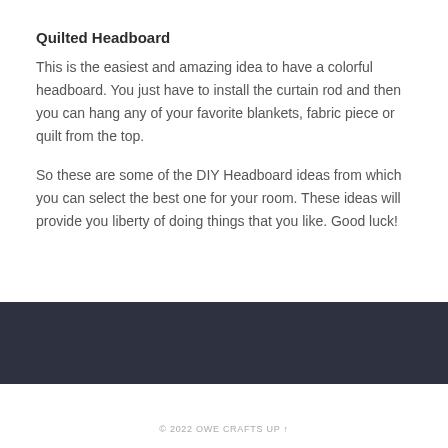Quilted Headboard
This is the easiest and amazing idea to have a colorful headboard. You just have to install the curtain rod and then you can hang any of your favorite blankets, fabric piece or quilt from the top.
So these are some of the DIY Headboard ideas from which you can select the best one for your room. These ideas will provide you liberty of doing things that you like. Good luck!
© 2022 OWE CRAFTS UP ↑